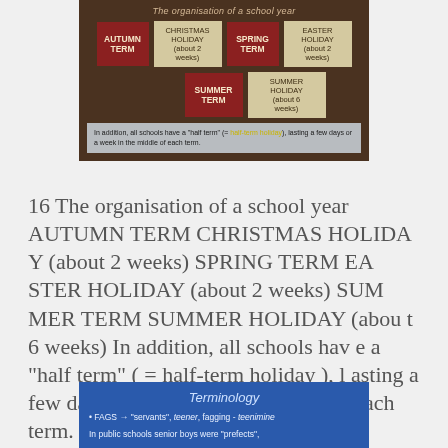[Figure (infographic): Diagram showing the organisation of a school year with brown background. Shows: AUTUMN TERM (red box), CHRISTMAS HOLIDAY about 2 weeks (beige box), SPRING TERM (red box), EASTER HOLIDAY about 2 weeks (beige box), SUMMER TERM (red box), SUMMER HOLIDAY about 6 weeks (beige box). Note at bottom: In addition, all schools have a 'half term' (= half-term holiday) lasting a few days or a week in the middle of each term.]
16 The organisation of a school year AUTUMN TERM CHRISTMAS HOLIDAY (about 2 weeks) SPRING TERM EASTER HOLIDAY (about 2 weeks) SUMMER TERM SUMMER HOLIDAY (about 6 weeks) In addition, all schools have a "half term" ( = half-term holiday ), lasting a few days or a week in the middle of each term.
[Figure (infographic): Terminology box with blue background. Title: Terminology. Bullet: FAGS → 'servants', teener, fagging - teenimine. Text: In public schools senior boys were 'prefects',]